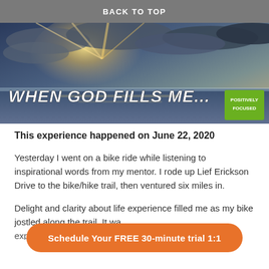BACK TO TOP
[Figure (photo): A scenic ocean/sea sunset photo with dramatic clouds and sunlight rays breaking through. White handwritten-style text reads 'WHEN GOD FILLS ME...' on the lower left, and a green 'POSITIVELY FOCUSED' badge on the lower right.]
This experience happened on June 22, 2020
Yesterday I went on a bike ride while listening to inspirational words from my mentor. I rode up Lief Erickson Drive to the bike/hike trail, then ventured six miles in.
Delight and clarity about life experience filled me as my bike jostled along the trail. It wa... experience "hard". Instead, I felt appreciation, fun and
Schedule Your FREE 30-minute trial 1:1